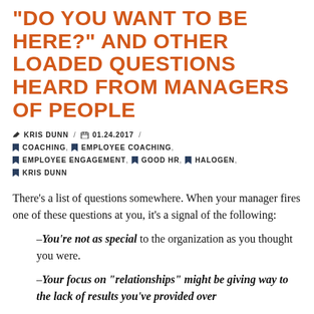“DO YOU WANT TO BE HERE?” AND OTHER LOADED QUESTIONS HEARD FROM MANAGERS OF PEOPLE
✏ KRIS DUNN / 📅 01.24.2017 / ► COACHING, ► EMPLOYEE COACHING, ► EMPLOYEE ENGAGEMENT, ► GOOD HR, ► HALOGEN, ► KRIS DUNN
There’s a list of questions somewhere. When your manager fires one of these questions at you, it’s a signal of the following:
—You’re not as special to the organization as you thought you were.
—Your focus on “relationships” might be giving way to the lack of results you’ve provided over...